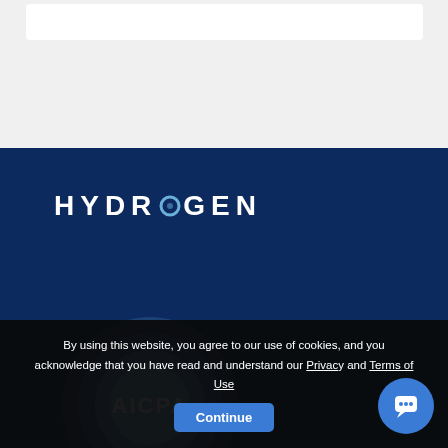[Figure (logo): HYDROGEN company logo in white bold uppercase letters with a circular accent on the letter O, on dark navy blue background]
[Figure (logo): AICPA circular badge/seal logo in light blue tones on dark navy blue background]
By using this website, you agree to our use of cookies, and you acknowledge that you have read and understand our Privacy and Terms of Use
[Figure (other): Continue button (blue rounded rectangle) and chat bubble button (blue circle with chat icon)]